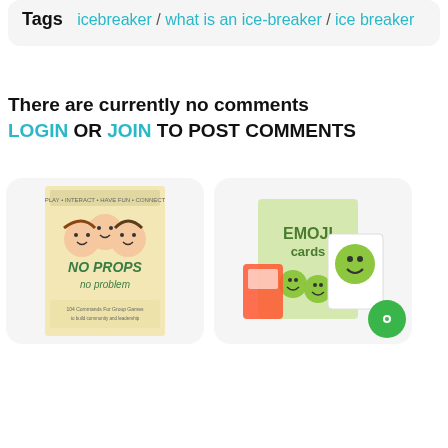Tags  icebreaker / what is an ice-breaker / ice breaker
There are currently no comments
LOGIN OR JOIN TO POST COMMENTS
[Figure (photo): Book cover: No Props No Problem - 104 Commands For Group Games, illustrated with cartoon faces of three smiling people]
[Figure (photo): Emoji Cards product box and cards shown, with green emoji character faces visible]